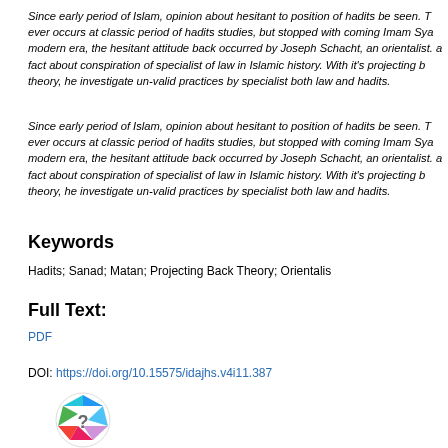Since early period of Islam, opinion about hesitant to position of hadits be seen. T ever occurs at classic period of hadits studies, but stopped with coming Imam Sya modern era, the hesitant attitude back occurred by Joseph Schacht, an orientalist. a fact about conspiration of specialist of law in Islamic history. With it's projecting b theory, he investigate un-valid practices by specialist both law and hadits.
Since early period of Islam, opinion about hesitant to position of hadits be seen. T ever occurs at classic period of hadits studies, but stopped with coming Imam Sya modern era, the hesitant attitude back occurred by Joseph Schacht, an orientalist. a fact about conspiration of specialist of law in Islamic history. With it's projecting b theory, he investigate un-valid practices by specialist both law and hadits.
Keywords
Hadits; Sanad; Matan; Projecting Back Theory; Orientalis
Full Text:
PDF
DOI: https://doi.org/10.15575/idajhs.v4i11.387
[Figure (logo): Circular badge/logo with a colorful geometric polygon shape and a question mark in the center]